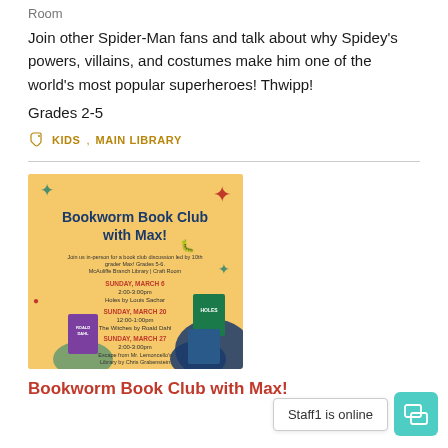Room
Join other Spider-Man fans and talk about why Spidey's powers, villains, and costumes make him one of the world's most popular superheroes! Thwipp!
Grades 2-5
KIDS, MAIN LIBRARY
[Figure (illustration): Bookworm Book Club with Max! event flyer on orange/yellow background. Text: Join us in-person for a book club discussion led by 10th grader Max! Grades 5-6. McAuliffe Branch Library | Craft Room. SUNDAY, MARCH 6 2:00-3:00pm Holes by Louis Sachar. SUNDAY, MARCH 20 12:00-1:00pm The Witches by Roald Dahl. SUNDAY, MARCH 27 2:00-3:00pm Escape from Mr. Lemoncello's Library by Chris Grabenstein. Book cover images shown.]
Bookworm Book Club with Max!
Staff1 is online